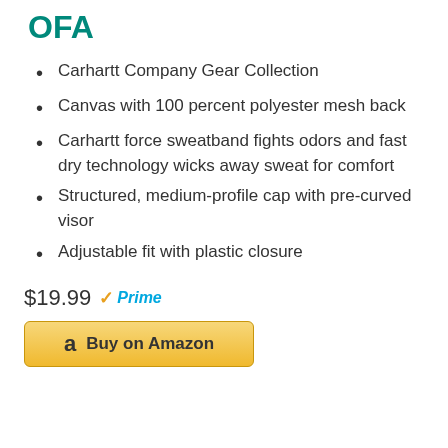OFA
Carhartt Company Gear Collection
Canvas with 100 percent polyester mesh back
Carhartt force sweatband fights odors and fast dry technology wicks away sweat for comfort
Structured, medium-profile cap with pre-curved visor
Adjustable fit with plastic closure
$19.99 Prime
Buy on Amazon